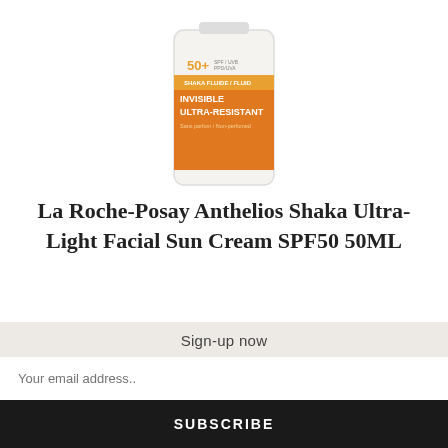[Figure (photo): Product image of La Roche-Posay Anthelios Shaka Fluid SPF50+ sunscreen bottle with orange and white label]
La Roche-Posay Anthelios Shaka Ultra-Light Facial Sun Cream SPF50 50ML
Specially formulated for sensitive skin. This broad spectrum SPF 50+ high protection fluid is resistant to water, sweat and sand. An easy to apply fluid formula that is non-greasy and does
Sign-up now
Your email address..
SUBSCRIBE